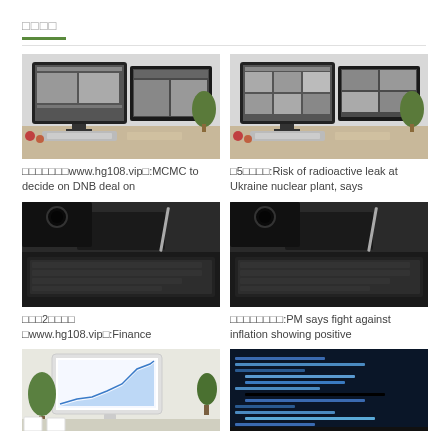□□□□
[Figure (photo): Two iMac monitors on a desk showing design/photo editing software]
□□□□□□□www.hg108.vip□:MCMC to decide on DNB deal on
[Figure (photo): Two iMac monitors on a desk showing a grid of photos]
□5□□□□:Risk of radioactive leak at Ukraine nuclear plant, says
[Figure (photo): Laptop keyboard with camera and stylus on dark surface]
□□□2□□□□
□www.hg108.vip□:Finance
[Figure (photo): Laptop keyboard with camera and stylus on dark surface (duplicate)]
□□□□□□□□:PM says fight against inflation showing positive
[Figure (photo): iMac showing analytics chart with plants in background]
[Figure (photo): Laptop with code on screen, dark blue tones]